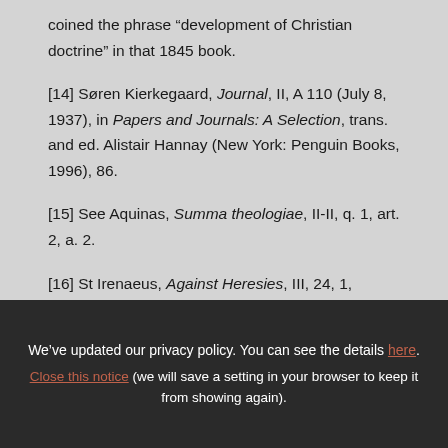coined the phrase “development of Christian doctrine” in that 1845 book.
[14] Søren Kierkegaard, Journal, II, A 110 (July 8, 1937), in Papers and Journals: A Selection, trans. and ed. Alistair Hannay (New York: Penguin Books, 1996), 86.
[15] See Aquinas, Summa theologiae, II-II, q. 1, art. 2, a. 2.
[16] St Irenaeus, Against Heresies, III, 24, 1,
We’ve updated our privacy policy. You can see the details here. Close this notice (we will save a setting in your browser to keep it from showing again).